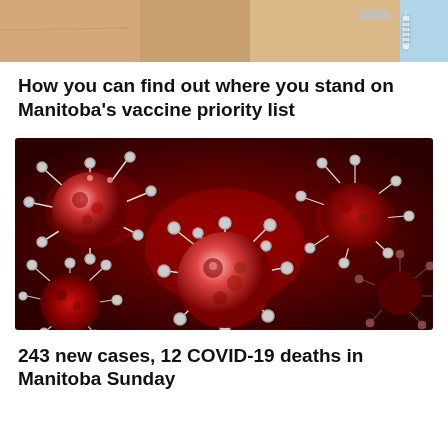[Figure (photo): Cropped image of a hand holding a syringe/vaccine, close-up view of fingers with a ring visible]
How you can find out where you stand on Manitoba's vaccine priority list
[Figure (photo): 3D illustration of COVID-19 coronavirus particles (red and white spiky spheres) on a dark red background]
243 new cases, 12 COVID-19 deaths in Manitoba Sunday